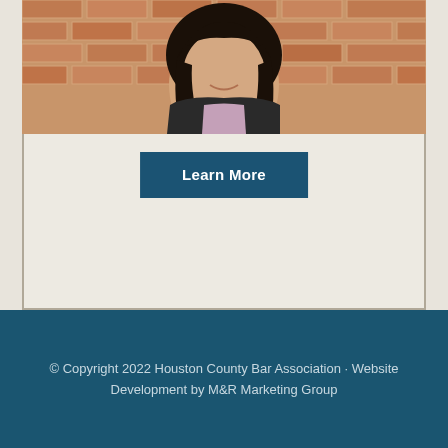[Figure (photo): Photo of a young woman with dark shoulder-length hair, smiling, standing in front of a brick wall]
Learn More
© Copyright 2022 Houston County Bar Association · Website Development by M&R Marketing Group